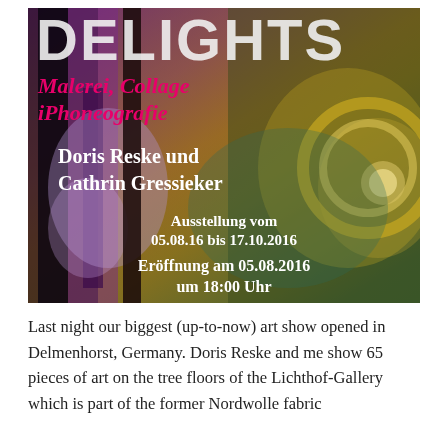[Figure (illustration): Exhibition poster for 'DELIGHTS' art show featuring abstract painting background in purples, blacks, and golds. Text overlay includes title 'DELIGHTS', subtitle 'Malerei, Collage iPhoneografie', artists 'Doris Reske und Cathrin Gressieker', exhibition dates 05.08.16 bis 17.10.2016, and opening 05.08.2016 um 18:00 Uhr.]
Last night our biggest (up-to-now) art show opened in Delmenhorst, Germany. Doris Reske and me show 65 pieces of art on the tree floors of the Lichthof-Gallery which is part of the former Nordwolle fabric